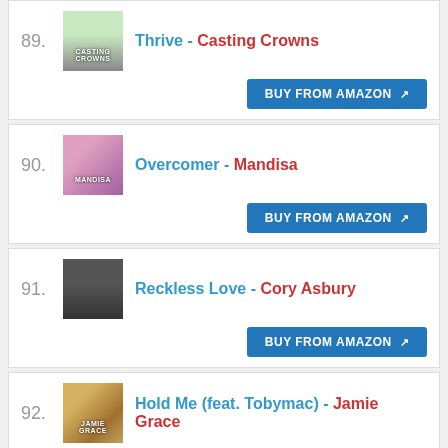89. Thrive - Casting Crowns
90. Overcomer - Mandisa
91. Reckless Love - Cory Asbury
92. Hold Me (feat. Tobymac) - Jamie Grace